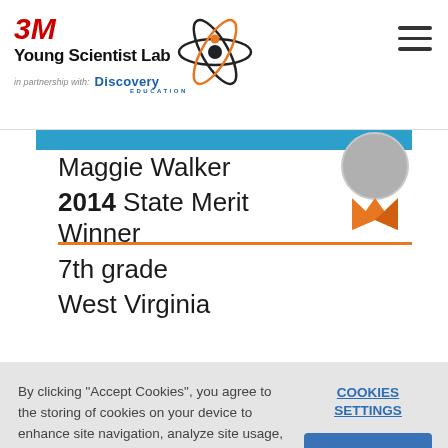3M Young Scientist Lab in partnership with Discovery Education
Maggie Walker
2014 State Merit Winner
7th grade
West Virginia
By clicking "Accept Cookies", you agree to the storing of cookies on your device to enhance site navigation, analyze site usage, and assist in our marketing efforts. Cookie Policy
COOKIES SETTINGS
ACCEPT COOKIES